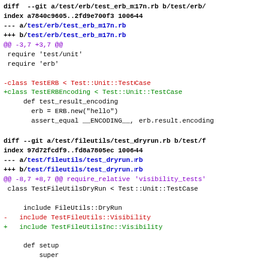diff --git a/test/erb/test_erb_m17n.rb b/test/erb/test_erb_m17n.rb
index a7840c9605..2fd9e700f3 100644
--- a/test/erb/test_erb_m17n.rb
+++ b/test/erb/test_erb_m17n.rb
@@ -3,7 +3,7 @@
 require 'test/unit'
 require 'erb'

-class TestERB < Test::Unit::TestCase
+class TestERBEncoding < Test::Unit::TestCase
     def test_result_encoding
       erb = ERB.new("hello")
       assert_equal __ENCODING__, erb.result.encoding

diff --git a/test/fileutils/test_dryrun.rb b/test/fileutils/test_dryrun.rb
index 97d72fcdf9..fd8a7805ec 100644
--- a/test/fileutils/test_dryrun.rb
+++ b/test/fileutils/test_dryrun.rb
@@ -8,7 +8,7 @@ require_relative 'visibility_tests'
 class TestFileUtilsDryRun < Test::Unit::TestCase

     include FileUtils::DryRun
-    include TestFileUtils::Visibility
+    include TestFileUtilsInc::Visibility

     def setup
         super

diff --git a/test/fileutils/test_nowrite.rb b/test/fileutils/test_nowrite.rb
index b804498525..543fa39f5a 100644
--- a/test/fileutils/test_nowrite.rb